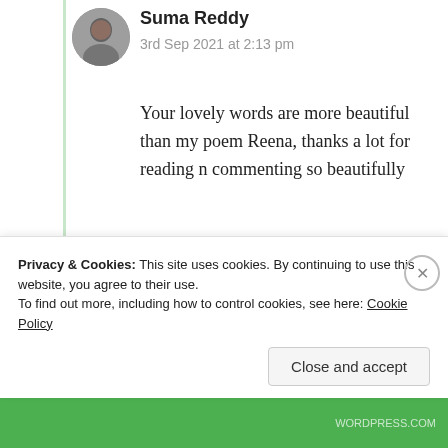Suma Reddy
3rd Sep 2021 at 2:13 pm
Your lovely words are more beautiful than my poem Reena, thanks a lot for reading n commenting so beautifully ❤️ 💕 🤩
Like
Log in to Reply
Privacy & Cookies: This site uses cookies. By continuing to use this website, you agree to their use. To find out more, including how to control cookies, see here: Cookie Policy
Close and accept